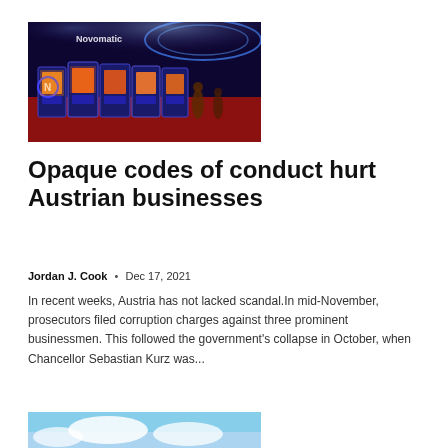[Figure (photo): Casino gaming floor with Novomatic slot machines lit up with colorful LED lighting in blue and red tones, showing people in the background]
Opaque codes of conduct hurt Austrian businesses
Jordan J. Cook  •  Dec 17, 2021
In recent weeks, Austria has not lacked scandal.In mid-November, prosecutors filed corruption charges against three prominent businessmen. This followed the government's collapse in October, when Chancellor Sebastian Kurz was...
[Figure (photo): Partial view of a second article image showing a blue sky with clouds]